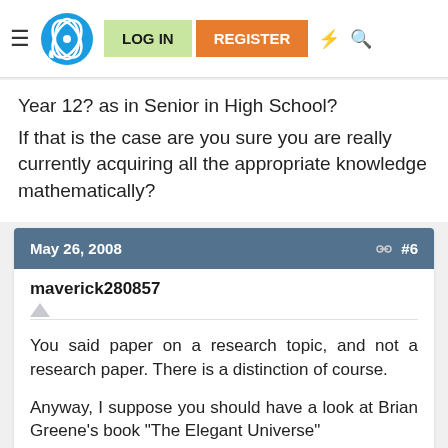LOG IN | REGISTER
Year 12? as in Senior in High School? If that is the case are you sure you are really currently acquiring all the appropriate knowledge mathematically?
May 26, 2008  #6
maverick280857
You said paper on a research topic, and not a research paper. There is a distinction of course.
Anyway, I suppose you should have a look at Brian Greene's book "The Elegant Universe"